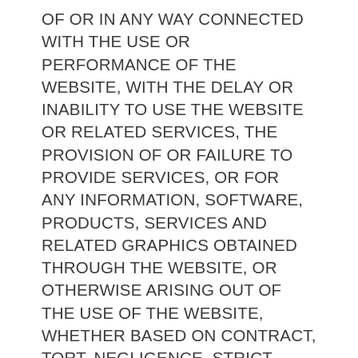OF OR IN ANY WAY CONNECTED WITH THE USE OR PERFORMANCE OF THE WEBSITE, WITH THE DELAY OR INABILITY TO USE THE WEBSITE OR RELATED SERVICES, THE PROVISION OF OR FAILURE TO PROVIDE SERVICES, OR FOR ANY INFORMATION, SOFTWARE, PRODUCTS, SERVICES AND RELATED GRAPHICS OBTAINED THROUGH THE WEBSITE, OR OTHERWISE ARISING OUT OF THE USE OF THE WEBSITE, WHETHER BASED ON CONTRACT, TORT, NEGLIGENCE, STRICT LIABILITY OR OTHERWISE, EVEN IF THE INSTITUTE OR ANY OF ITS SUPPLIERS HAS BEEN ADVISED OF THE POSSIBILITY OF DAMAGES. BECAUSE SOME STATES/JURISDICTIONS DO NOT ALLOW THE EXCLUSION OR LIMITATION OF LIABILITY FOR CONSEQUENTIAL OR INCIDENTAL DAMAGES, THE ABOVE LIMITATION MAY NOT APPLY TO YOU. IF YOU ARE DISSATISFIED WITH ANY PORTION OF